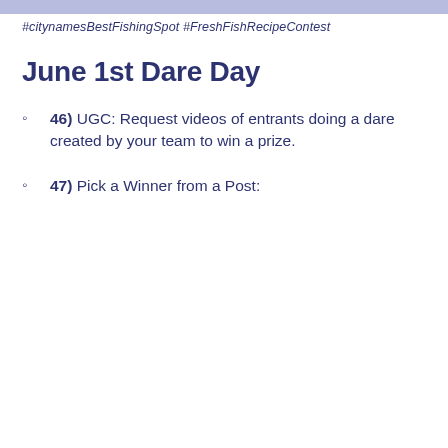#citynamesBestFishingSpot #FreshFishRecipeContest
June 1st Dare Day
46) UGC: Request videos of entrants doing a dare created by your team to win a prize.
47) Pick a Winner from a Post: